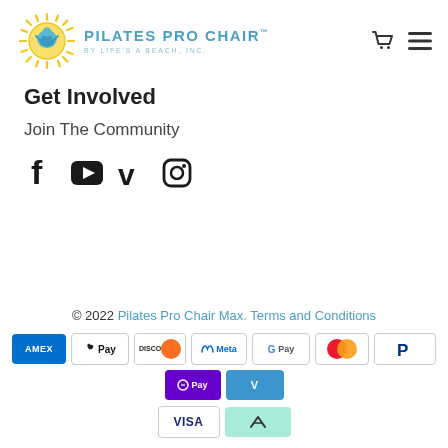[Figure (logo): Pilates Pro Chair logo with sun illustration and text 'PILATES PRO CHAIR BY LIFE'S A BEACH, INC.']
Get Involved
Join The Community
[Figure (infographic): Social media icons: Facebook, YouTube, Vimeo, Instagram]
© 2022 Pilates Pro Chair Max. Terms and Conditions
[Figure (infographic): Payment method logos: AMEX, Apple Pay, Discover, Meta, Google Pay, Mastercard, PayPal, OPay, Venmo, Visa, Afterpay]